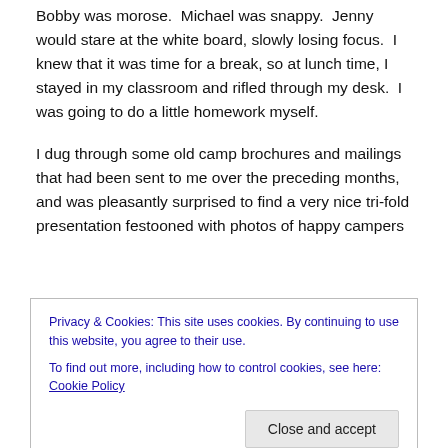Bobby was morose.  Michael was snappy.  Jenny would stare at the white board, slowly losing focus.  I knew that it was time for a break, so at lunch time, I stayed in my classroom and rifled through my desk.  I was going to do a little homework myself.
I dug through some old camp brochures and mailings that had been sent to me over the preceding months, and was pleasantly surprised to find a very nice tri-fold presentation festooned with photos of happy campers
Privacy & Cookies: This site uses cookies. By continuing to use this website, you agree to their use.
To find out more, including how to control cookies, see here: Cookie Policy
the number.  I introduced myself and mentioned that I was